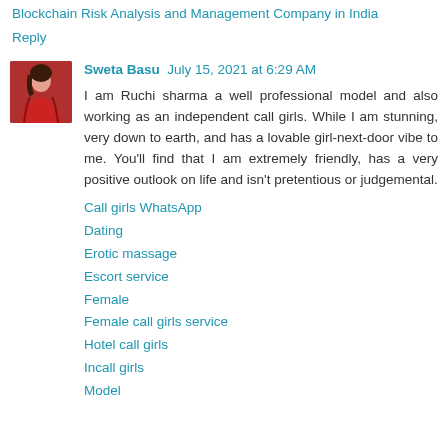Blockchain Risk Analysis and Management Company in India
Reply
Sweta Basu  July 15, 2021 at 6:29 AM
I am Ruchi sharma a well professional model and also working as an independent call girls. While I am stunning, very down to earth, and has a lovable girl-next-door vibe to me. You'll find that I am extremely friendly, has a very positive outlook on life and isn't pretentious or judgemental.
Call girls WhatsApp
Dating
Erotic massage
Escort service
Female
Female call girls service
Hotel call girls
Incall girls
Model